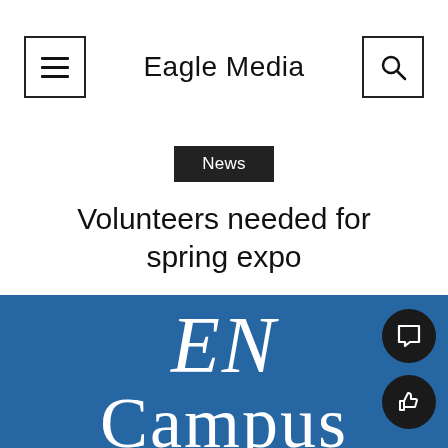Eagle Media
News
Volunteers needed for spring expo
[Figure (logo): Eagle News Campus logo on blue background showing 'EN' in italic serif and 'Campus' in serif text, white on blue]